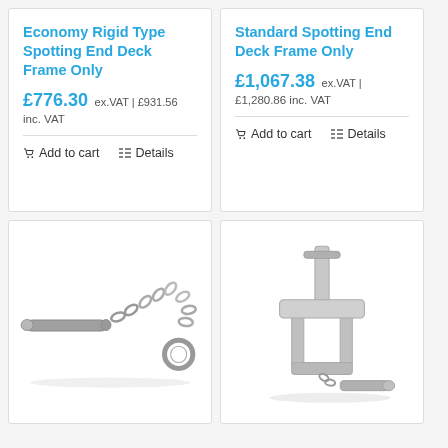Economy Rigid Type Spotting End Deck Frame Only
£776.30 ex.VAT | £931.56 inc. VAT
Add to cart  Details
Standard Spotting End Deck Frame Only
£1,067.38 ex.VAT | £1,280.86 inc. VAT
Add to cart  Details
[Figure (photo): Metal pin with chain and ring attachment — a safety pin/retainer component]
[Figure (photo): Stainless steel U-bolt bracket with pin and chain hardware component]